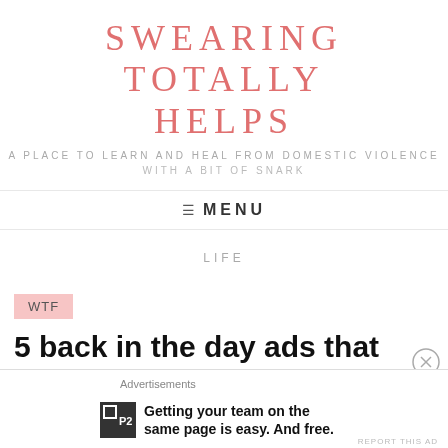SWEARING TOTALLY HELPS
A PLACE TO LEARN AND HEAL FROM DOMESTIC VIOLENCE
WITH A BIT OF SNARK
≡  MENU
LIFE
WTF
5 back in the day ads that actually ran that could not run today
Advertisements
Getting your team on the same page is easy. And free.